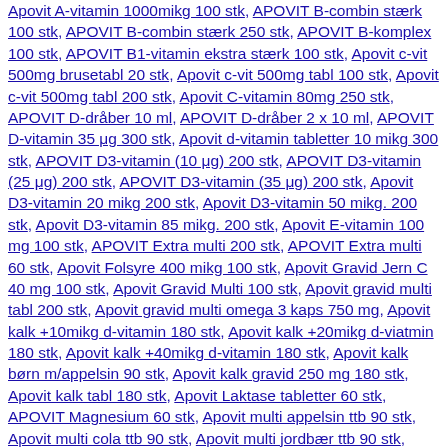Apovit A-vitamin 1000mikg 100 stk, APOVIT B-combin stærk 100 stk, APOVIT B-combin stærk 250 stk, APOVIT B-komplex 100 stk, APOVIT B1-vitamin ekstra stærk 100 stk, Apovit c-vit 500mg brusetabl 20 stk, Apovit c-vit 500mg tabl 100 stk, Apovit c-vit 500mg tabl 200 stk, Apovit C-vitamin 80mg 250 stk, APOVIT D-dråber 10 ml, APOVIT D-dråber 2 x 10 ml, APOVIT D-vitamin 35 μg 300 stk, Apovit d-vitamin tabletter 10 mikg 300 stk, APOVIT D3-vitamin (10 μg) 200 stk, APOVIT D3-vitamin (25 μg) 200 stk, APOVIT D3-vitamin (35 μg) 200 stk, Apovit D3-vitamin 20 mikg 200 stk, Apovit D3-vitamin 50 mikg. 200 stk, Apovit D3-vitamin 85 mikg. 200 stk, Apovit E-vitamin 100 mg 100 stk, APOVIT Extra multi 200 stk, APOVIT Extra multi 60 stk, Apovit Folsyre 400 mikg 100 stk, Apovit Gravid Jern C 40 mg 100 stk, Apovit Gravid Multi 100 stk, Apovit gravid multi tabl 200 stk, Apovit gravid multi omega 3 kaps 750 mg, Apovit kalk +10mikg d-vitamin 180 stk, Apovit kalk +20mikg d-viatmin 180 stk, Apovit kalk +40mikg d-vitamin 180 stk, Apovit kalk børn m/appelsin 90 stk, Apovit kalk gravid 250 mg 180 stk, Apovit kalk tabl 180 stk, Apovit Laktase tabletter 60 stk, APOVIT Magnesium 60 stk, Apovit multi appelsin ttb 90 stk, Apovit multi cola ttb 90 stk, Apovit multi jordbær ttb 90 stk, Apovit multi tutti-frutti ttb 90 stk, Apovit Multi Tyggetablet med appelsinsmag 75 stk, Apovit Multi Voksen 100 stk, APOVIT Multi Voksne 200 stk, Apovit omega 3 gelatinefri 1 stk, Apovit omega 3 kaps 1000 mg 180